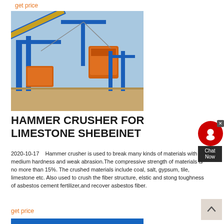get price
[Figure (photo): Industrial hammer crusher and conveyor belt machinery on a construction/mining site, with blue steel frame structures and an orange crusher unit.]
HAMMER CRUSHER FOR LIMESTONE SHEBEINET
2020-10-17   Hammer crusher is used to break many kinds of materials with medium hardness and weak abrasion.The compressive strength of materials is no more than 15%. The crushed materials include coal, salt, gypsum, tile, limestone etc. Also used to crush the fiber structure, elstic and stong toughness of asbestos cement fertilizer,and recover asbestos fiber.
get price